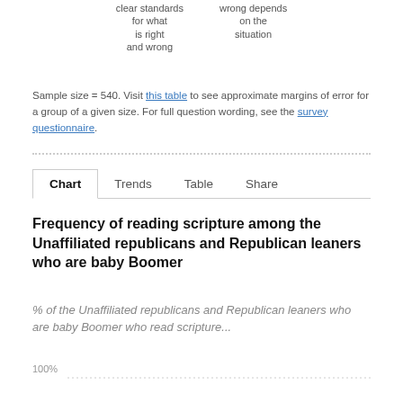clear standards for what is right and wrong
wrong depends on the situation
Sample size = 540. Visit this table to see approximate margins of error for a group of a given size. For full question wording, see the survey questionnaire.
Frequency of reading scripture among the Unaffiliated republicans and Republican leaners who are baby Boomer
% of the Unaffiliated republicans and Republican leaners who are baby Boomer who read scripture...
[Figure (line-chart): Chart showing frequency of reading scripture, y-axis starts at 100%, data not yet visible in this crop]